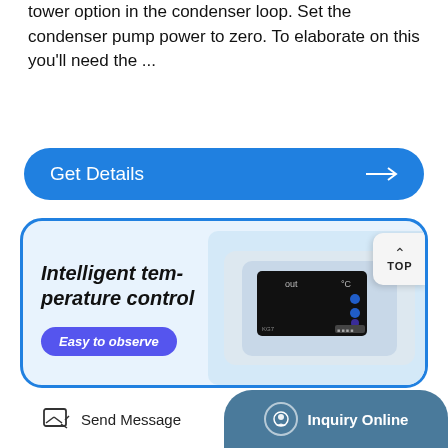tower option in the condenser loop. Set the condenser pump power to zero. To elaborate on this you'll need the ...
Get Details →
[Figure (photo): Product card showing an intelligent temperature control device. Left side has bold italic text 'Intelligent temperature control' and a purple pill button 'Easy to observe'. Right side shows a digital controller/thermostat device with a black display screen showing 'out' and '°C' labels with blue indicator dots. A TOP navigation button is at the top right corner of the card.]
Send Message
Inquiry Online